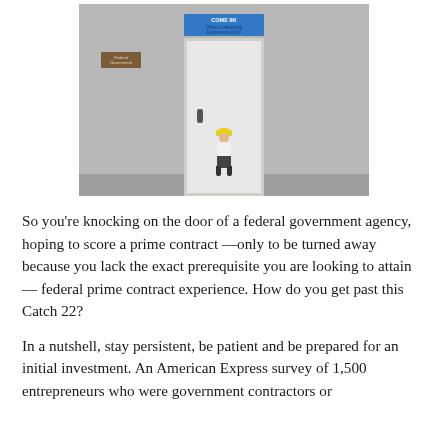[Figure (illustration): An illustration of a construction worker (wearing a yellow hard hat, white shirt, dark pants) standing facing a white door. The door has a blue sign reading 'COME IN! Prime Contracting Experience Only!' and a brown plaque reading 'Federal Government' on the wall to the left. The background is a grey wall.]
So you're knocking on the door of a federal government agency, hoping to score a prime contract —only to be turned away because you lack the exact prerequisite you are looking to attain — federal prime contract experience. How do you get past this Catch 22?
In a nutshell, stay persistent, be patient and be prepared for an initial investment. An American Express survey of 1,500 entrepreneurs who were government contractors or